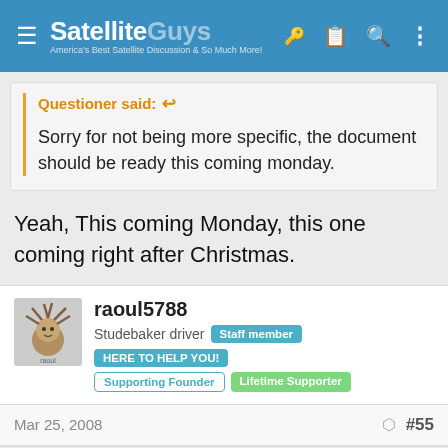SatelliteGuys — America's Best Satellite Discussion & So Much More!
Questioner said: Sorry for not being more specific, the document should be ready this coming monday.
Yeah, This coming Monday, this one coming right after Christmas.
raoul5788
Studebaker driver  Staff member  HERE TO HELP YOU!
Supporting Founder  Lifetime Supporter
Mar 25, 2008  #55
jinamaiii said: